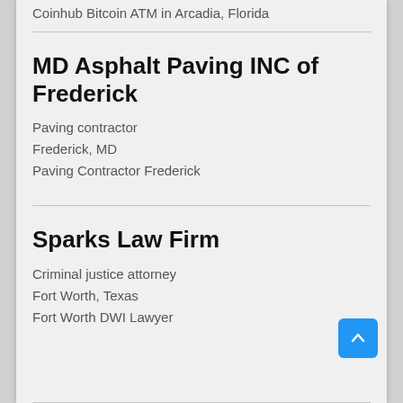Coinhub Bitcoin ATM in Arcadia, Florida
MD Asphalt Paving INC of Frederick
Paving contractor
Frederick, MD
Paving Contractor Frederick
Sparks Law Firm
Criminal justice attorney
Fort Worth, Texas
Fort Worth DWI Lawyer